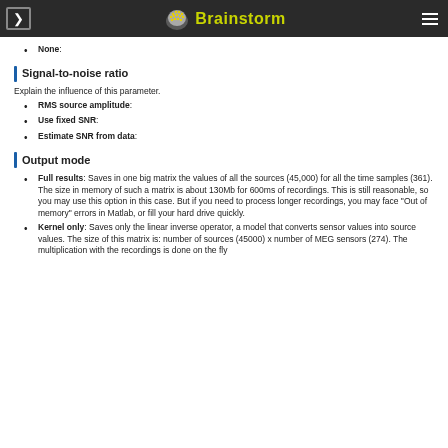Brainstorm
None:
Signal-to-noise ratio
Explain the influence of this parameter.
RMS source amplitude:
Use fixed SNR:
Estimate SNR from data:
Output mode
Full results: Saves in one big matrix the values of all the sources (45,000) for all the time samples (361). The size in memory of such a matrix is about 130Mb for 600ms of recordings. This is still reasonable, so you may use this option in this case. But if you need to process longer recordings, you may face "Out of memory" errors in Matlab, or fill your hard drive quickly.
Kernel only: Saves only the linear inverse operator, a model that converts sensor values into source values. The size of this matrix is: number of sources (45000) x number of MEG sensors (274). The multiplication with the recordings is done on the fly